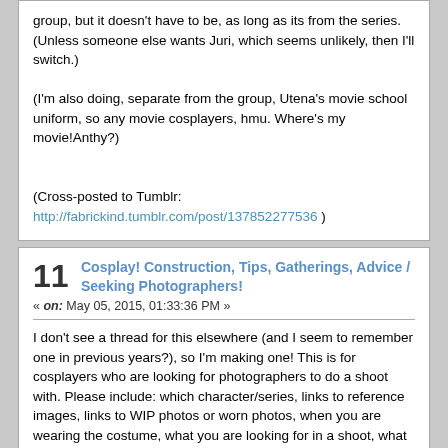group, but it doesn't have to be, as long as its from the series. (Unless someone else wants Juri, which seems unlikely, then I'll switch.)

(I'm also doing, separate from the group, Utena's movie school uniform, so any movie cosplayers, hmu. Where's my movie!Anthy?)

(Cross-posted to Tumblr: http://fabrickind.tumblr.com/post/137852277536 )
11 Cosplay! Construction, Tips, Gatherings, Advice / Seeking Photographers!
« on: May 05, 2015, 01:33:36 PM »

I don't see a thread for this elsewhere (and I seem to remember one in previous years?), so I'm making one! This is for cosplayers who are looking for photographers to do a shoot with. Please include: which character/series, links to reference images, links to WIP photos or worn photos, when you are wearing the costume, what you are looking for in a shoot, what your budget is, and any other relevant information.

Since I'm looking for a shoot, I'll start. :]

Hello all,